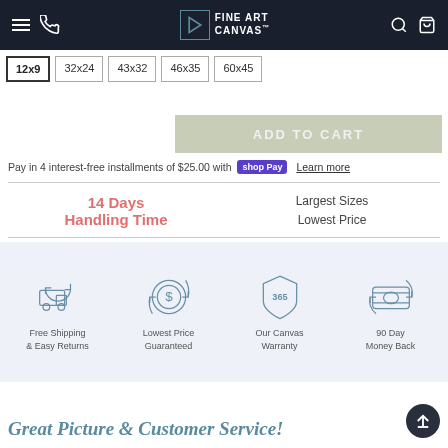Fine Art Canvas - navigation header
12x9
32x24
43x32
46x35
60x45
ADD TO CART
Pay in 4 interest-free installments of $25.00 with shop Pay  Learn more
14 Days Handling Time
Largest Sizes Lowest Price
[Figure (illustration): Free Shipping & Easy Returns icon - truck with circular arrows]
Free Shipping & Easy Returns
[Figure (illustration): Lowest Price Guaranteed icon - dollar sign in circle with arrows]
Lowest Price Guaranteed
[Figure (illustration): Our Canvas Warranty icon - shield with 365]
Our Canvas Warranty
[Figure (illustration): 90 Day Money Back icon - money with circular arrows]
90 Day Money Back
Great Picture & Customer Service!